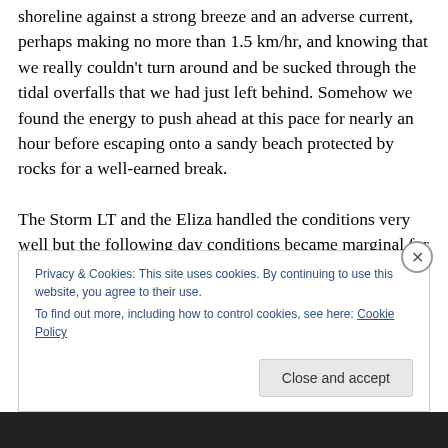shoreline against a strong breeze and an adverse current, perhaps making no more than 1.5 km/hr, and knowing that we really couldn't turn around and be sucked through the tidal overfalls that we had just left behind. Somehow we found the energy to push ahead at this pace for nearly an hour before escaping onto a sandy beach protected by rocks for a well-earned break.
The Storm LT and the Eliza handled the conditions very well but the following day conditions became marginal for us while experiencing 15-20 knot gusts on sheltered water.
Privacy & Cookies: This site uses cookies. By continuing to use this website, you agree to their use.
To find out more, including how to control cookies, see here: Cookie Policy
Close and accept